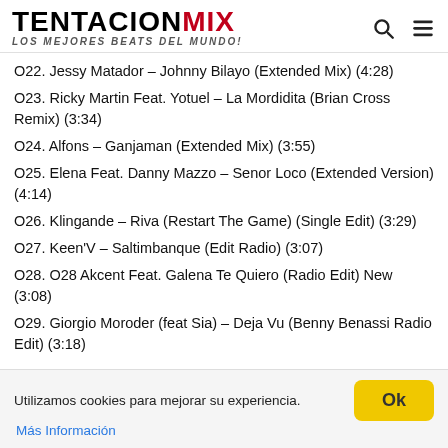TENTACIONMIX LOS MEJORES BEATS DEL MUNDO!
O22. Jessy Matador – Johnny Bilayo (Extended Mix) (4:28)
O23. Ricky Martin Feat. Yotuel – La Mordidita (Brian Cross Remix) (3:34)
O24. Alfons – Ganjaman (Extended Mix) (3:55)
O25. Elena Feat. Danny Mazzo – Senor Loco (Extended Version) (4:14)
O26. Klingande – Riva (Restart The Game) (Single Edit) (3:29)
O27. Keen'V – Saltimbanque (Edit Radio) (3:07)
O28. O28 Akcent Feat. Galena Te Quiero (Radio Edit) New (3:08)
O29. Giorgio Moroder (feat Sia) – Deja Vu (Benny Benassi Radio Edit) (3:18)
Utilizamos cookies para mejorar su experiencia.
Más Información